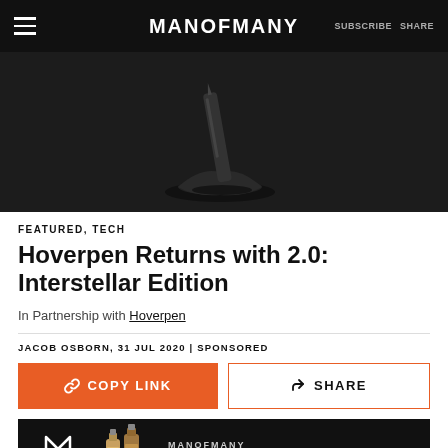MANOFMANY  SUBSCRIBE  SHARE
[Figure (photo): Dark product photo of the Hoverpen 2.0 Interstellar Edition on a dark surface, showing the pen balanced on a magnetic base]
FEATURED, TECH
Hoverpen Returns with 2.0: Interstellar Edition
In Partnership with Hoverpen
JACOB OSBORN, 31 JUL 2020 | SPONSORED
[Figure (infographic): Two buttons: an orange COPY LINK button and a SHARE button with orange border]
[Figure (infographic): MANOFMANY Exclusive Whiskey advertisement banner in black with orange Buy it Here button and whiskey bottles]
Part w...t,